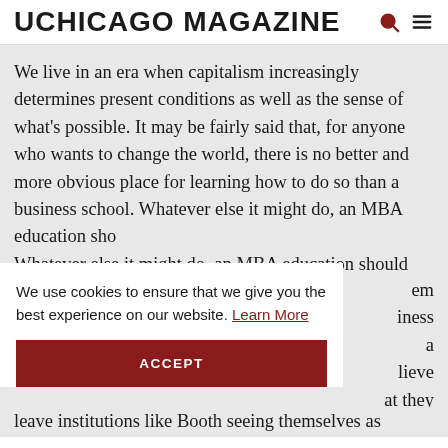UCHICAGO MAGAZINE
We live in an era when capitalism increasingly determines present conditions as well as the sense of what's possible. It may be fairly said that, for anyone who wants to change the world, there is no better and more obvious place for learning how to do so than a business school. Whatever else it might do, an MBA education should give [them] [business] [a] [believe] [that they]
We use cookies to ensure that we give you the best experience on our website. Learn More
ACCEPT
leave institutions like Booth seeing themselves as